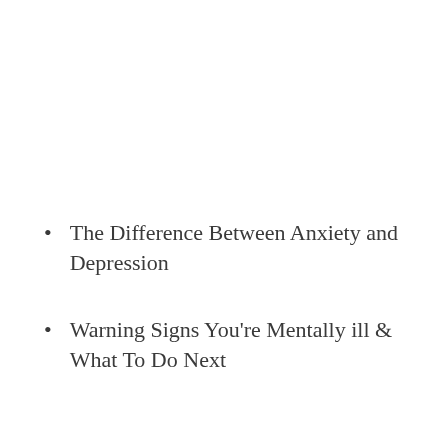The Difference Between Anxiety and Depression
Warning Signs You're Mentally ill & What To Do Next